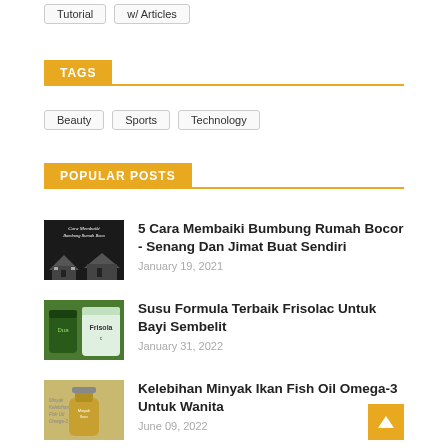Tutorial
w/ Articles
TAGS
Beauty
Sports
Technology
POPULAR POSTS
5 Cara Membaiki Bumbung Rumah Bocor - Senang Dan Jimat Buat Sendiri
January 19, 2021
Susu Formula Terbaik Frisolac Untuk Bayi Sembelit
January 31, 2022
Kelebihan Minyak Ikan Fish Oil Omega-3 Untuk Wanita
June 09, 2022